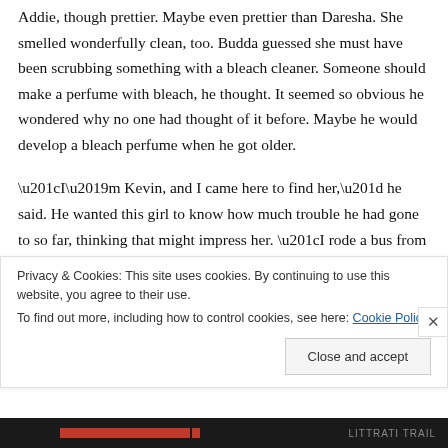Addie, though prettier. Maybe even prettier than Daresha. She smelled wonderfully clean, too. Budda guessed she must have been scrubbing something with a bleach cleaner. Someone should make a perfume with bleach, he thought. It seemed so obvious he wondered why no one had thought of it before. Maybe he would develop a bleach perfume when he got older.

“I’m Kevin, and I came here to find her,” he said. He wanted this girl to know how much trouble he had gone to so far, thinking that might impress her. “I rode a bus from Missouri all the way to Louisville. Went across Illinois and
Privacy & Cookies: This site uses cookies. By continuing to use this website, you agree to their use.
To find out more, including how to control cookies, see here: Cookie Policy